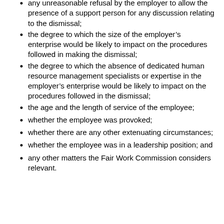any unreasonable refusal by the employer to allow the presence of a support person for any discussion relating to the dismissal;
the degree to which the size of the employer’s enterprise would be likely to impact on the procedures followed in making the dismissal;
the degree to which the absence of dedicated human resource management specialists or expertise in the employer’s enterprise would be likely to impact on the procedures followed in the dismissal;
the age and the length of service of the employee;
whether the employee was provoked;
whether there are any other extenuating circumstances;
whether the employee was in a leadership position; and
any other matters the Fair Work Commission considers relevant.